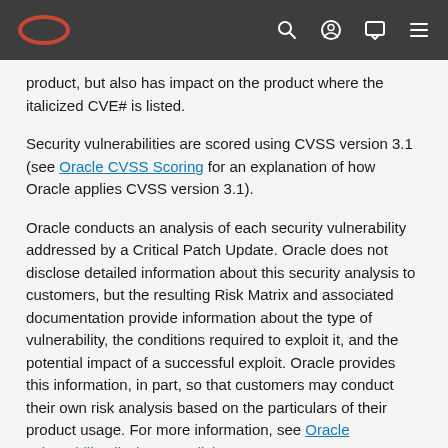Oracle navigation bar with Oracle logo, search, profile, chat, and menu icons
product, but also has impact on the product where the italicized CVE# is listed.
Security vulnerabilities are scored using CVSS version 3.1 (see Oracle CVSS Scoring for an explanation of how Oracle applies CVSS version 3.1).
Oracle conducts an analysis of each security vulnerability addressed by a Critical Patch Update. Oracle does not disclose detailed information about this security analysis to customers, but the resulting Risk Matrix and associated documentation provide information about the type of vulnerability, the conditions required to exploit it, and the potential impact of a successful exploit. Oracle provides this information, in part, so that customers may conduct their own risk analysis based on the particulars of their product usage. For more information, see Oracle vulnerability disclosure policies